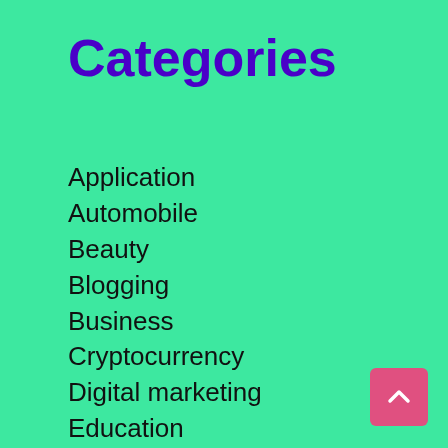Categories
Application
Automobile
Beauty
Blogging
Business
Cryptocurrency
Digital marketing
Education
Entertainment
Fashion
Finance
Food
Games